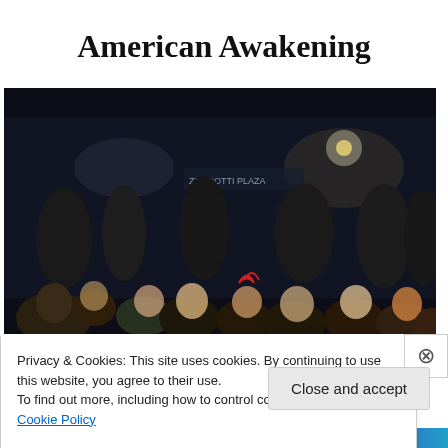American Awakening
[Figure (photo): Night-time outdoor gathering of people sitting together in a public square, crowd visible in background with lights]
Privacy & Cookies: This site uses cookies. By continuing to use this website, you agree to their use.
To find out more, including how to control cookies, see here: Cookie Policy
Close and accept